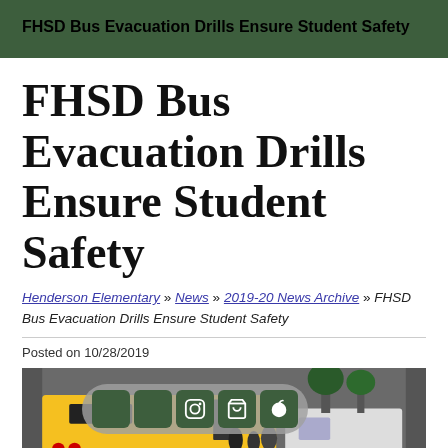FHSD Bus Evacuation Drills Ensure Student Safety
FHSD Bus Evacuation Drills Ensure Student Safety
Henderson Elementary » News » 2019-20 News Archive » FHSD Bus Evacuation Drills Ensure Student Safety
Posted on 10/28/2019
[Figure (photo): Photo of yellow school bus with students evacuating, with a social media sharing toolbar overlay showing Instagram, shopping cart, and apple icons.]